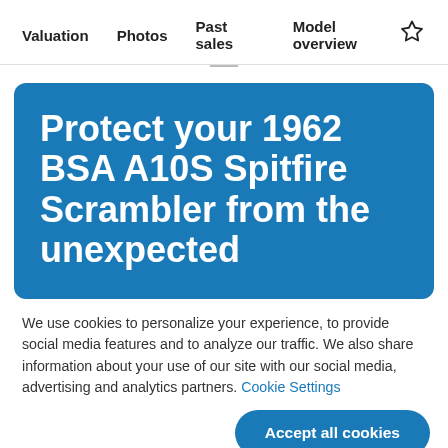Valuation  Photos  Past sales  Model overview
Protect your 1962 BSA A10S Spitfire Scrambler from the unexpected
We use cookies to personalize your experience, to provide social media features and to analyze our traffic. We also share information about your use of our site with our social media, advertising and analytics partners. Cookie Settings
Accept all cookies